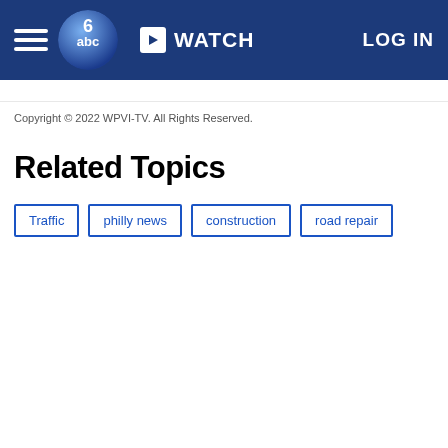≡  6abc WATCH  LOG IN
Copyright © 2022 WPVI-TV. All Rights Reserved.
Related Topics
Traffic
philly news
construction
road repair